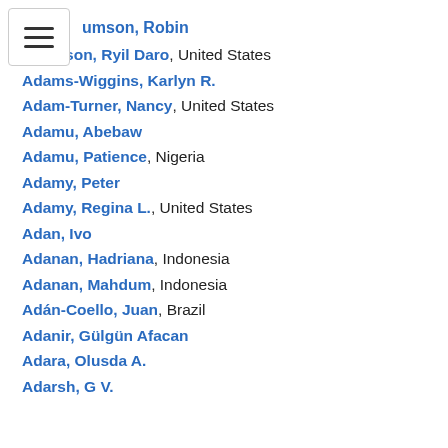Adamson, Robin
Adamson, Ryil Daro, United States
Adams-Wiggins, Karlyn R.
Adam-Turner, Nancy, United States
Adamu, Abebaw
Adamu, Patience, Nigeria
Adamy, Peter
Adamy, Regina L., United States
Adan, Ivo
Adanan, Hadriana, Indonesia
Adanan, Mahdum, Indonesia
Adán-Coello, Juan, Brazil
Adanir, Gülgün Afacan
Adara, Olusda A.
Adarsh, G V.